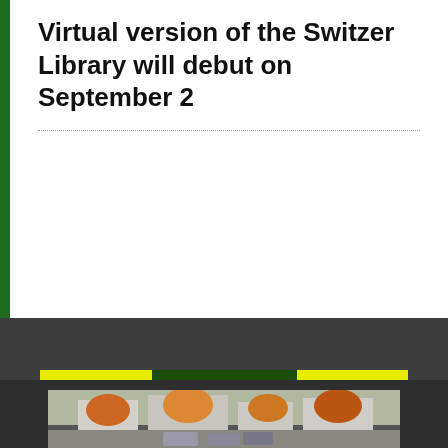Virtual version of the Switzer Library will debut on September 2
[Figure (infographic): Advertisement banner with yellow panels on left and right, dark green center panel with white text reading ADVERTISEMENT]
[Figure (photo): Partial view of a street scene with trees showing autumn foliage and parked cars, appearing to be the Switzer Library exterior]